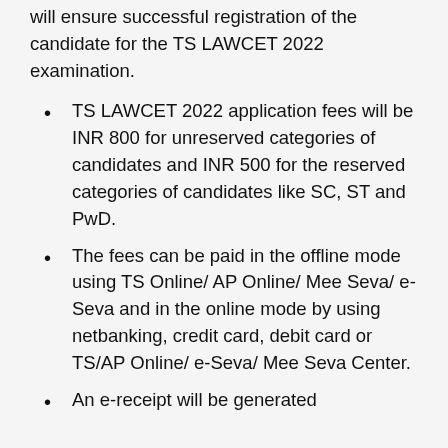will ensure successful registration of the candidate for the TS LAWCET 2022 examination.
TS LAWCET 2022 application fees will be INR 800 for unreserved categories of candidates and INR 500 for the reserved categories of candidates like SC, ST and PwD.
The fees can be paid in the offline mode using TS Online/ AP Online/ Mee Seva/ e-Seva and in the online mode by using netbanking, credit card, debit card or TS/AP Online/ e-Seva/ Mee Seva Center.
An e-receipt will be generated